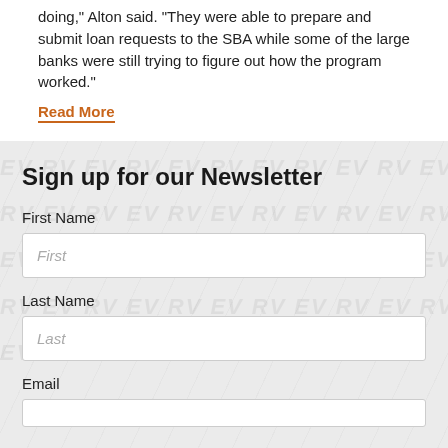doing," Alton said. “They were able to prepare and submit loan requests to the SBA while some of the large banks were still trying to figure out how the program worked.”
Read More
Sign up for our Newsletter
First Name
First
Last Name
Last
Email